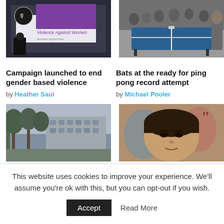[Figure (photo): Banner with STOP Violence Against Women logo and text, amnesty.org/women URL visible]
Campaign launched to end gender based violence
by Heather Saul
[Figure (photo): People around a ping pong table in a large hall]
Bats at the ready for ping pong record attempt
by Michael Pooler
[Figure (photo): Outdoor photo of trees and a block of flats]
[Figure (photo): Portrait photo of a young woman with dark hair, colourful background with quotation marks]
This website uses cookies to improve your experience. We'll assume you're ok with this, but you can opt-out if you wish.
Accept
Read More